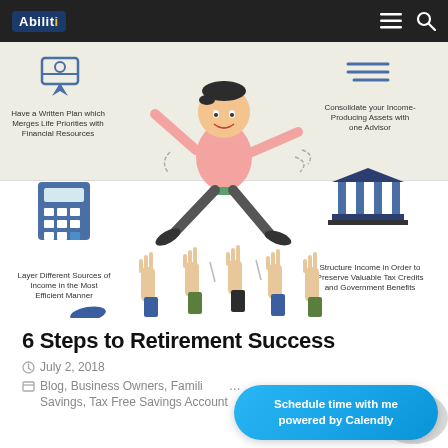[Figure (infographic): Infographic about 6 Steps to Retirement Success. Shows a cartoon man jumping with icons: ribbon/award top-left, handshake/money top-right, calculator bottom-left, bank/government building bottom-right, and multiple hands raised at bottom. Text captions: 'Have a Written Plan which Merges Life Priorities with Financial Resources', 'Consolidate your Income-Producing Assets with one Advisor', 'Layer Different Sources of Income in the Most Efficient Manner', 'Structure Income in Order to Preserve Valuable Tax Credits and Government Benefits']
6 Steps to Retirement Success
July 2, 2018
Blog, Business Owners, Families, Savings, Tax Free Savings Account